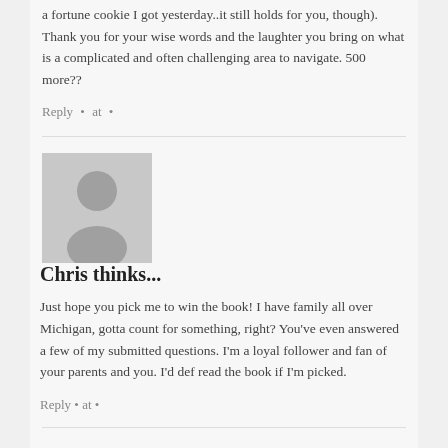a fortune cookie I got yesterday..it still holds for you, though). Thank you for your wise words and the laughter you bring on what is a complicated and often challenging area to navigate. 500 more??
Reply • at •
[Figure (illustration): Default grey avatar placeholder image showing a silhouette of a person]
Chris thinks...
Just hope you pick me to win the book! I have family all over Michigan, gotta count for something, right? You've even answered a few of my submitted questions. I'm a loyal follower and fan of your parents and you. I'd def read the book if I'm picked.
Reply • at •